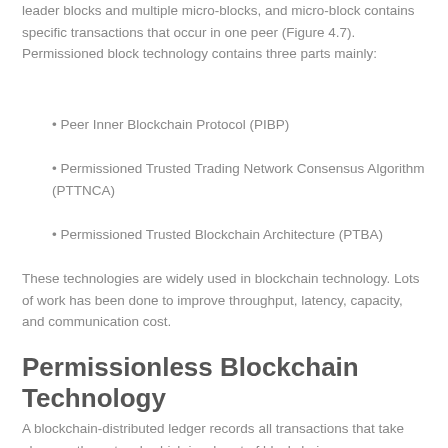leader blocks and multiple micro-blocks, and micro-block contains specific transactions that occur in one peer (Figure 4.7). Permissioned block technology contains three parts mainly:
Peer Inner Blockchain Protocol (PIBP)
Permissioned Trusted Trading Network Consensus Algorithm (PTTNCA)
Permissioned Trusted Blockchain Architecture (PTBA)
These technologies are widely used in blockchain technology. Lots of work has been done to improve throughput, latency, capacity, and communication cost.
Permissionless Blockchain Technology
A blockchain-distributed ledger records all transactions that take place on the network which is a heart of blockchain